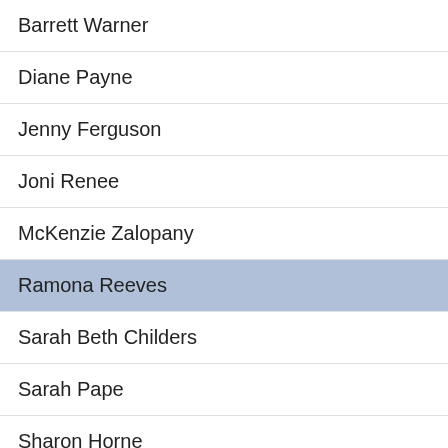Barrett Warner
Diane Payne
Jenny Ferguson
Joni Renee
McKenzie Zalopany
Ramona Reeves
Sarah Beth Childers
Sarah Pape
Sharon Horne
poetry
events
staff
[Figure (photo): Black and white photo, partially visible at top right]
[Figure (screenshot): Clyp audio player widget showing waveform logo, 0:00 timestamp, play button, and text: Hope Chest, by Ra... posted 5 years ago]